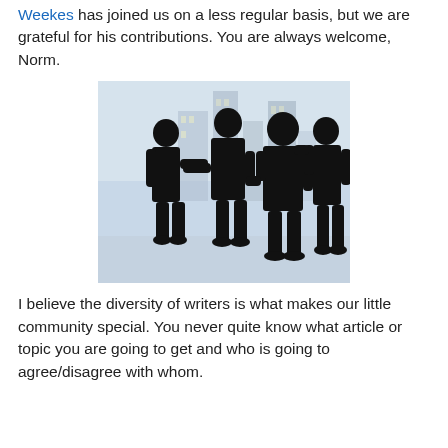Weekes has joined us on a less regular basis, but we are grateful for his contributions. You are always welcome, Norm.
[Figure (photo): Silhouettes of four business people in conversation/handshake, set against a blurred city background.]
I believe the diversity of writers is what makes our little community special. You never quite know what article or topic you are going to get and who is going to agree/disagree with whom.